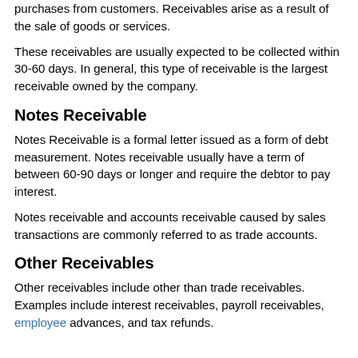purchases from customers. Receivables arise as a result of the sale of goods or services.
These receivables are usually expected to be collected within 30-60 days. In general, this type of receivable is the largest receivable owned by the company.
Notes Receivable
Notes Receivable is a formal letter issued as a form of debt measurement. Notes receivable usually have a term of between 60-90 days or longer and require the debtor to pay interest.
Notes receivable and accounts receivable caused by sales transactions are commonly referred to as trade accounts.
Other Receivables
Other receivables include other than trade receivables. Examples include interest receivables, payroll receivables, employee advances, and tax refunds.